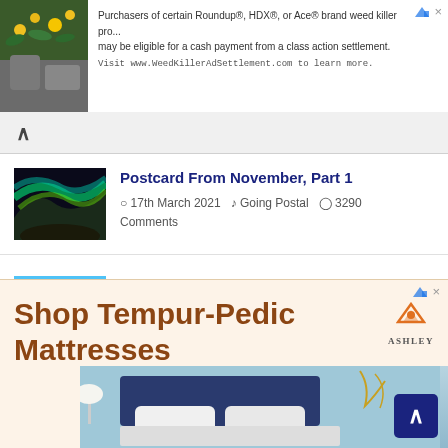[Figure (screenshot): Top advertisement banner with flowers/plants photo on left and text about Roundup weed killer class action settlement]
Purchasers of certain Roundup®, HDX®, or Ace® brand weed killer products may be eligible for a cash payment from a class action settlement. Visit www.WeedKillerAdSettlement.com to learn more.
Postcard From November, Part 1
17th March 2021  Going Postal  3290 Comments
Postcard from Penarth
16th June 2020  SharpieType301  4394 Comments
[Figure (screenshot): Bottom advertisement for Ashley furniture - Shop Tempur-Pedic Mattresses with bed image]